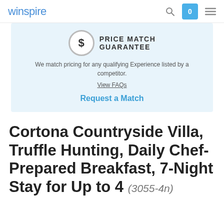winspire
[Figure (infographic): Price Match Guarantee banner with dollar sign circle icon, text reading PRICE MATCH GUARANTEE, description text and View FAQs link, and Request a Match button]
We match pricing for any qualifying Experience listed by a competitor.
View FAQs
Request a Match
Cortona Countryside Villa, Truffle Hunting, Daily Chef-Prepared Breakfast, 7-Night Stay for Up to 4 (3055-4n)